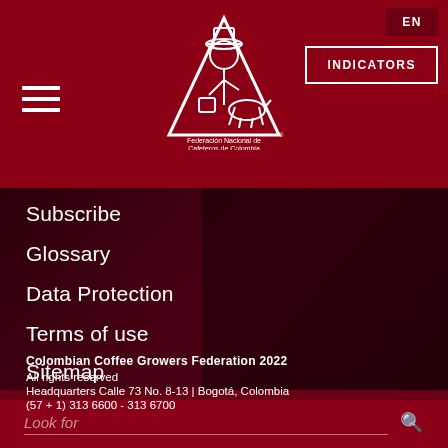EN | INDICATORS | Federación Nacional de Cafeteros de Colombia
Subscribe
Glossary
Data Protection
Terms of use
Sitemap
Colombian Coffee Growers Federation 2022
All rights reserved
Headquarters Calle 73 No. 8-13 | Bogotá, Colombia
(57 + 1) 313 6600 - 313 6700
Look for